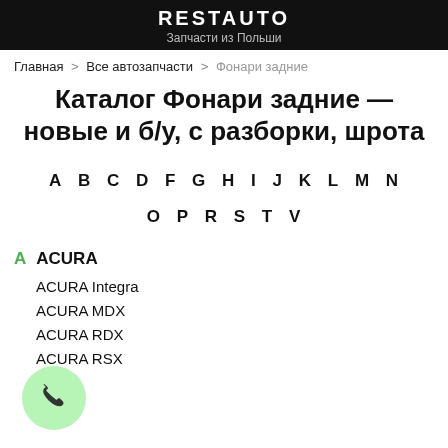RESTAUTO — Запчасти из Польши
Главная > Все автозапчасти > Фонари задние
Каталог Фонари задние — новые и б/у, с разборки, шрота
A B C D F G H I J K L M N O P R S T V
A ACURA
ACURA Integra
ACURA MDX
ACURA RDX
ACURA RSX